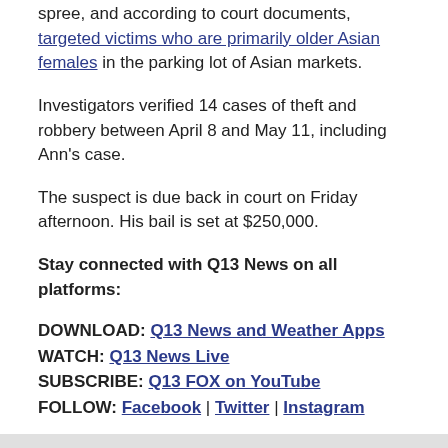spree, and according to court documents, targeted victims who are primarily older Asian females in the parking lot of Asian markets.
Investigators verified 14 cases of theft and robbery between April 8 and May 11, including Ann's case.
The suspect is due back in court on Friday afternoon. His bail is set at $250,000.
Stay connected with Q13 News on all platforms:
DOWNLOAD: Q13 News and Weather Apps
WATCH: Q13 News Live
SUBSCRIBE: Q13 FOX on YouTube
FOLLOW: Facebook | Twitter | Instagram